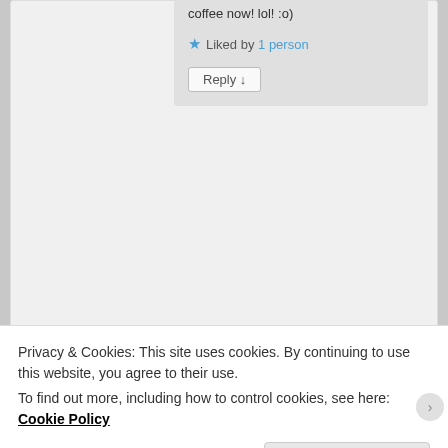coffee now! lol! :o)
★ Liked by 1 person
Reply ↓
[Figure (logo): The Practical Mystic circular logo with flower of life pattern in blue and green with yellow center star]
sara on August 2, 2015 at 10:03 am said:
I hear you! I sat down to write yesterday morning,
Privacy & Cookies: This site uses cookies. By continuing to use this website, you agree to their use.
To find out more, including how to control cookies, see here: Cookie Policy
Close and accept